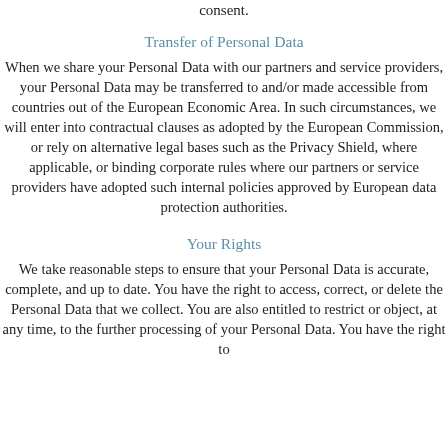consent.
Transfer of Personal Data
When we share your Personal Data with our partners and service providers, your Personal Data may be transferred to and/or made accessible from countries out of the European Economic Area. In such circumstances, we will enter into contractual clauses as adopted by the European Commission, or rely on alternative legal bases such as the Privacy Shield, where applicable, or binding corporate rules where our partners or service providers have adopted such internal policies approved by European data protection authorities.
Your Rights
We take reasonable steps to ensure that your Personal Data is accurate, complete, and up to date. You have the right to access, correct, or delete the Personal Data that we collect. You are also entitled to restrict or object, at any time, to the further processing of your Personal Data. You have the right to